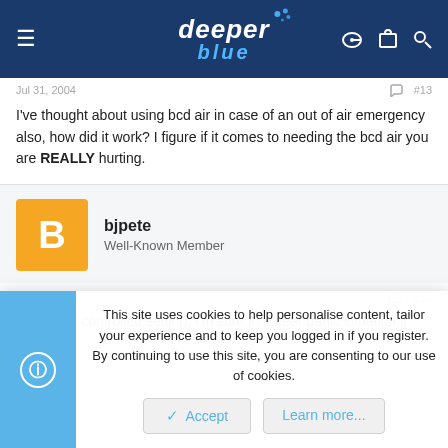deeper blue
Jul 31, 2004 #13
I've thought about using bcd air in case of an out of air emergency also, how did it work? I figure if it comes to needing the bcd air you are REALLY hurting.
bjpete
Well-Known Member
Aug 1, 2004 #14
it was is a controlled setting, I'm sure in a near panic situation it would
This site uses cookies to help personalise content, tailor your experience and to keep you logged in if you register.
By continuing to use this site, you are consenting to our use of cookies.